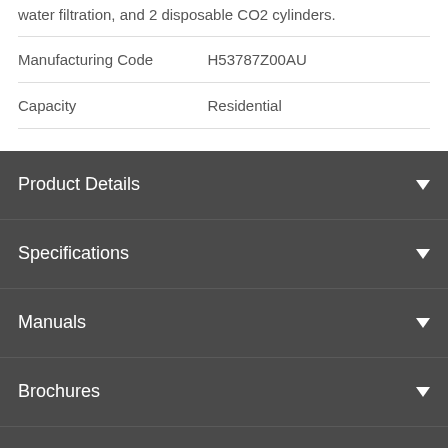water filtration, and 2 disposable CO2 cylinders.
|  |  |
| --- | --- |
| Manufacturing Code | H53787Z00AU |
| Capacity | Residential |
Product Details
Specifications
Manuals
Brochures
Installation